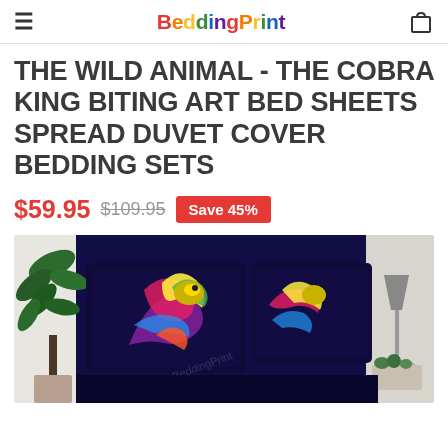BeddingPrint
THE WILD ANIMAL - THE COBRA KING BITING ART BED SHEETS SPREAD DUVET COVER BEDDING SETS
$59.95 $109.95 Save 45%
[Figure (photo): Product photo showing dark navy blue bedding set with colorful cobra king art printed on pillows, flanked by a green palm plant on the left and a lamp with succulents on the right]